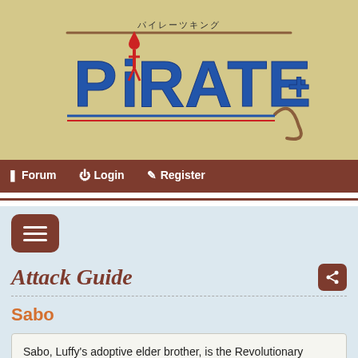[Figure (logo): PirateKing+ website logo with stylized blue text, red pirate figure, Japanese katakana above, and rope decoration on tan/yellow background]
Forum  Login  Register
[Figure (screenshot): Navigation bar with hamburger menu icon button]
Attack Guide
Sabo
Sabo, Luffy's adoptive elder brother, is the Revolutionary Army's chief of staff, the second in command of the organization. Sabo is a great fighter, able to use the skill called "Ambition" and destroy entire sites with only his fists imbued with this technique.